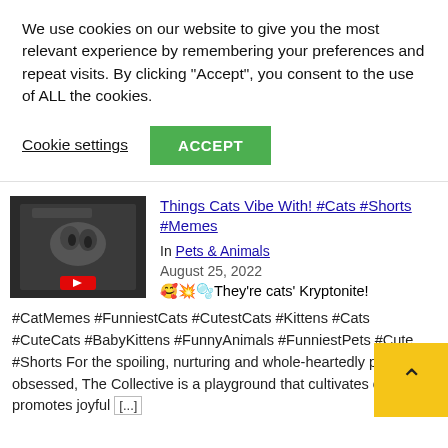We use cookies on our website to give you the most relevant experience by remembering your preferences and repeat visits. By clicking "Accept", you consent to the use of ALL the cookies.
Cookie settings  ACCEPT
Things Cats Vibe With! #Cats #Shorts #Memes
In Pets & Animals
August 25, 2022
🥰💥🫧They're cats' Kryptonite! #CatMemes #FunniestCats #CutestCats #Kittens #Cats #CuteCats #BabyKittens #FunnyAnimals #FunniestPets #Cute #Shorts For the spoiling, nurturing and whole-heartedly pet-obsessed, The Collective is a playground that cultivates commu promotes joyful [...]
[Figure (screenshot): Thumbnail image of a cat video showing a cat in dark surroundings]